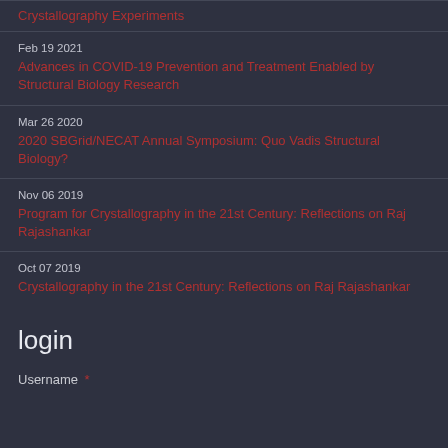Crystallography Experiments
Feb 19 2021
Advances in COVID-19 Prevention and Treatment Enabled by Structural Biology Research
Mar 26 2020
2020 SBGrid/NECAT Annual Symposium: Quo Vadis Structural Biology?
Nov 06 2019
Program for Crystallography in the 21st Century: Reflections on Raj Rajashankar
Oct 07 2019
Crystallography in the 21st Century: Reflections on Raj Rajashankar
login
Username *